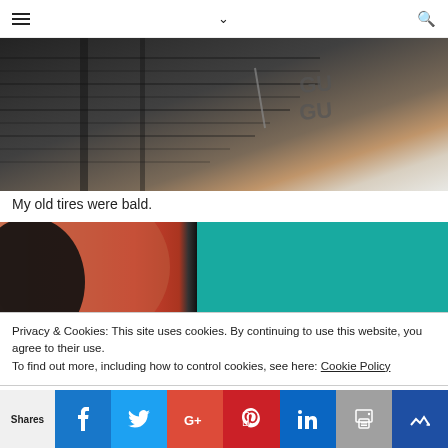Navigation header with hamburger menu, chevron, and search icon
[Figure (photo): Close-up photo of a bald tire sidewall showing worn tread and embossed markings]
My old tires were bald.
[Figure (photo): Photo showing the sidewall of a new tire with red and teal/turquoise coloring]
Privacy & Cookies: This site uses cookies. By continuing to use this website, you agree to their use.
To find out more, including how to control cookies, see here: Cookie Policy
Shares [Facebook] [Twitter] [Google+] [Pinterest] [LinkedIn] [Print] [Other]